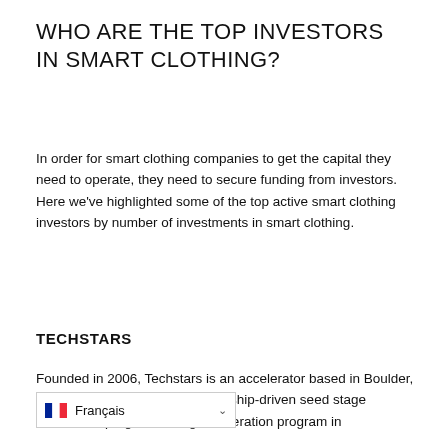WHO ARE THE TOP INVESTORS IN SMART CLOTHING?
In order for smart clothing companies to get the capital they need to operate, they need to secure funding from investors. Here we've highlighted some of the top active smart clothing investors by number of investments in smart clothing.
TECHSTARS
Founded in 2006, Techstars is an accelerator based in Boulder, Colorado. The firm has a mentorship-driven seed stage investment pro[gram with a] h-long acceleration program in